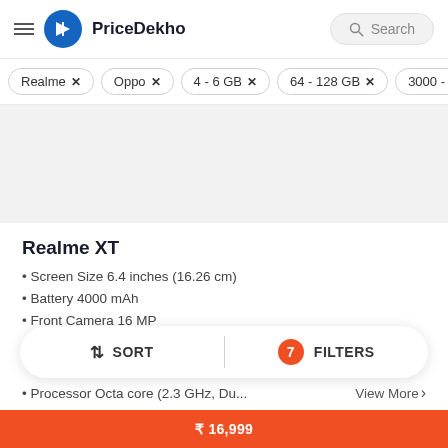PriceDekho
Realme ×
Oppo ×
4 - 6 GB ×
64 - 128 GB ×
3000 - 4000
Realme XT
Screen Size 6.4 inches (16.26 cm)
Battery 4000 mAh
Front Camera 16 MP
Processor Octa core (2.3 GHz, Du...
SORT   |   7   FILTERS
View More >